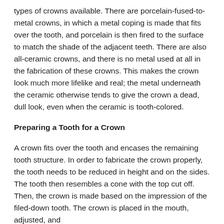types of crowns available. There are porcelain-fused-to-metal crowns, in which a metal coping is made that fits over the tooth, and porcelain is then fired to the surface to match the shade of the adjacent teeth. There are also all-ceramic crowns, and there is no metal used at all in the fabrication of these crowns. This makes the crown look much more lifelike and real; the metal underneath the ceramic otherwise tends to give the crown a dead, dull look, even when the ceramic is tooth-colored.
Preparing a Tooth for a Crown
A crown fits over the tooth and encases the remaining tooth structure. In order to fabricate the crown properly, the tooth needs to be reduced in height and on the sides. The tooth then resembles a cone with the top cut off. Then, the crown is made based on the impression of the filed-down tooth. The crown is placed in the mouth, adjusted, and